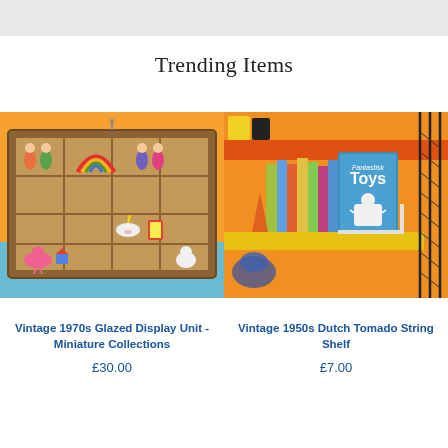Trending Items
[Figure (photo): Vintage 1970s wooden glazed display unit with miniature toy collections including rainbow, peg dolls, flamingo, unicorn, and other colorful small figures against an orange wall and blue surface.]
[Figure (photo): Vintage 1950s Dutch Tomado string shelf with colorful books including a book titled 'Toys' and a small robot figure, on an orange wall background with yellow shelf.]
Vintage 1970s Glazed Display Unit - Miniature Collections
£30.00
Vintage 1950s Dutch Tomado String Shelf
£7.00